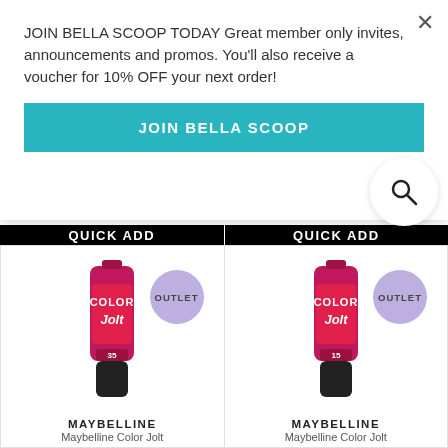JOIN BELLA SCOOP TODAY Great member only invites, announcements and promos. You'll also receive a voucher for 10% OFF your next order!
JOIN BELLA SCOOP
QUICK ADD
QUICK ADD
[Figure (photo): Maybelline Color Jolt lip product tube (pink/magenta) with OUTLET badge, shade 35]
MAYBELLINE
Maybelline Color Jolt
[Figure (photo): Maybelline Color Jolt lip product tube (pink/magenta) with OUTLET badge, shade 15]
MAYBELLINE
Maybelline Color Jolt